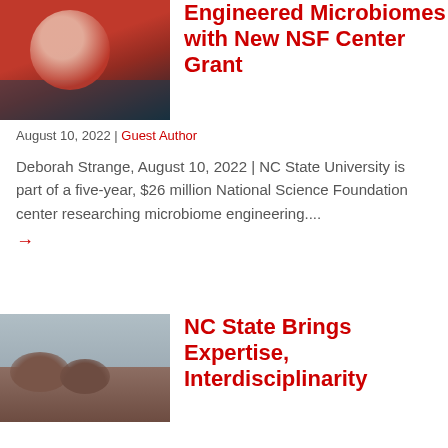[Figure (photo): Woman in red jacket seated, looking at camera]
Engineered Microbiomes with New NSF Center Grant
August 10, 2022 | Guest Author
Deborah Strange, August 10, 2022 | NC State University is part of a five-year, $26 million National Science Foundation center researching microbiome engineering....
[Figure (photo): Landscape with hills and overcast sky]
NC State Brings Expertise, Interdisciplinarity